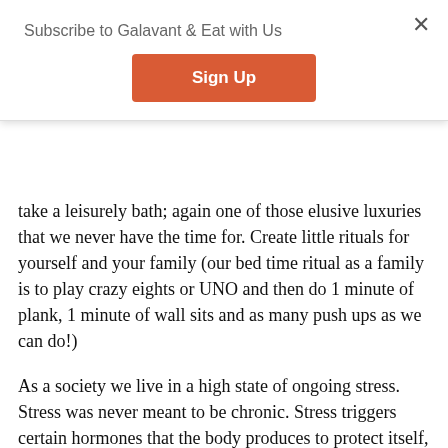Subscribe to Galavant & Eat with Us
Sign Up
take a leisurely bath; again one of those elusive luxuries that we never have the time for. Create little rituals for yourself and your family (our bed time ritual as a family is to play crazy eights or UNO and then do 1 minute of plank, 1 minute of wall sits and as many push ups as we can do!)
As a society we live in a high state of ongoing stress. Stress was never meant to be chronic. Stress triggers certain hormones that the body produces to protect itself, however when we experience chronic levels of stress (and therefore overproduction of those hormones) we may experience chronic disease. We may not have control over the fact that we have stress in our lives, but we can certainly control HOW we deal with the stress.